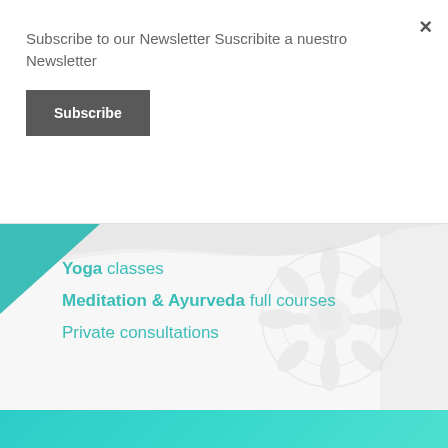Subscribe to our Newsletter Suscribite a nuestro Newsletter
Subscribe
[Figure (illustration): Website screenshot showing a yoga/wellness website with a hero banner containing a teal triangle in the top-left corner, a white diagonal swoosh shape over a gray background with a mandala watermark on the right, and teal text listing services: Yoga classes, Meditation & Ayurveda full courses, Private consultations. Below is a teal gradient band.]
Yoga classes
Meditation & Ayurveda full courses
Private consultations